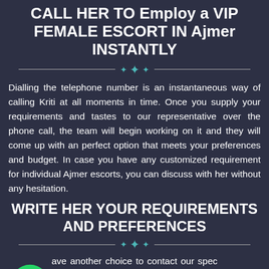CALL HER TO Employ a VIP FEMALE ESCORT IN Ajmer INSTANTLY
Dialling the telephone number is an instantaneous way of calling Kriti at all moments in time. Once you supply your requirements and tastes to our representative over the phone call, the team will begin working on it and they will come up with an perfect option that meets your preferences and budget. In case you have any customized requirement for individual Ajmer escorts, you can discuss with her without any hesitation.
WRITE HER YOUR REQUIREMENTS AND PREFERENCES
ave another choice to contact our spec through email. If you don't think in any arrangement over the telephone call, then it's possible to write to her